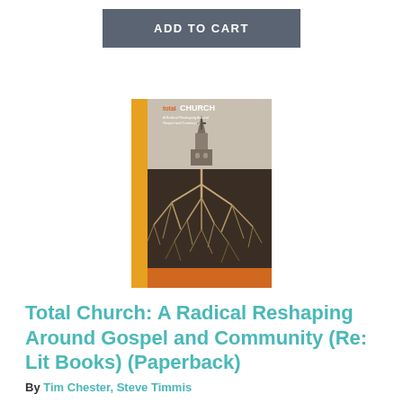ADD TO CART
[Figure (illustration): Book cover of 'Total Church' showing a church steeple above ground with roots extending below, yellow spine on left, orange banner at bottom, text reads 'total CHURCH' at top]
Total Church: A Radical Reshaping Around Gospel and Community (Re: Lit Books) (Paperback)
By Tim Chester, Steve Timmis